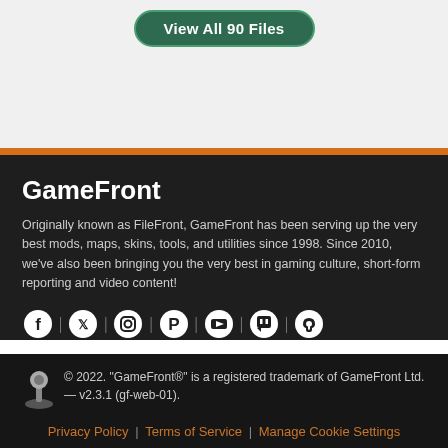[Figure (other): Green rounded button labeled 'View All 90 Files']
GameFront
Originally known as FileFront, GameFront has been serving up the very best mods, maps, skins, tools, and utilities since 1998. Since 2010, we've also been bringing you the very best in gaming culture, short-form reporting and video content!
[Figure (other): Social media icons row: Facebook, Twitter, Instagram, Pinterest, YouTube, Twitch, Steam]
© 2022. "GameFront®" is a registered trademark of GameFront Ltd. — v2.3.1 (gf-web-01).
Privacy Policy | Terms of Service | Manage Cookie Settings